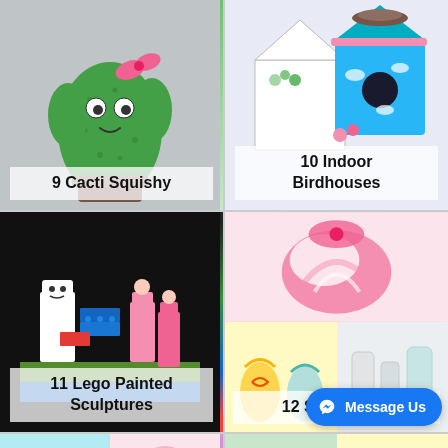[Figure (photo): Cute cactus squishy toy with googly eyes, pink bow, smiling face, green fuzzy texture]
9 Cacti Squishy
[Figure (photo): Decorated indoor birdhouse painted blue with clouds and flowers, pink trim, bird nest on top]
10 Indoor Birdhouses
[Figure (photo): Lego painted sculptures including Adventure Time characters and Minecraft figures on colorful lego base]
11 Lego Painted Sculptures
[Figure (photo): Swirl vases craft project: pink swirly candy-shaped piece on top, colorful swirl-painted vases and glass bottles below]
12 Swirl vases
[Figure (photo): Bottom left partial image showing colorful folded paper or clay crafts]
[Figure (photo): Bottom right partial image showing pink swirled craft item]
Message Us